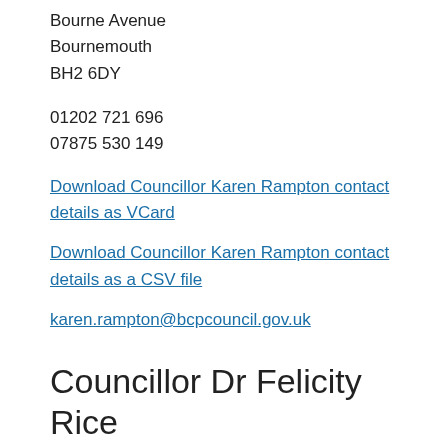Bourne Avenue
Bournemouth
BH2 6DY
01202 721 696
07875 530 149
Download Councillor Karen Rampton contact details as VCard
Download Councillor Karen Rampton contact details as a CSV file
karen.rampton@bcpcouncil.gov.uk
Councillor Dr Felicity Rice
c/o BCP Council Civic Centre
Bourne Avenue